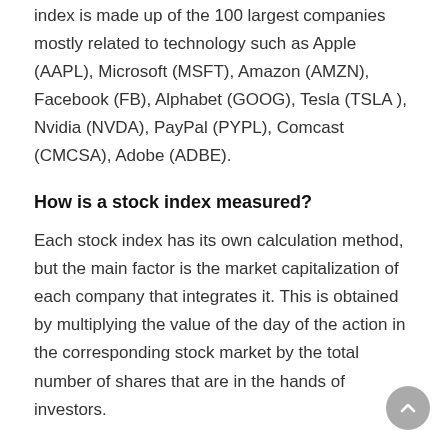index is made up of the 100 largest companies mostly related to technology such as Apple (AAPL), Microsoft (MSFT), Amazon (AMZN), Facebook (FB), Alphabet (GOOG), Tesla (TSLA ), Nvidia (NVDA), PayPal (PYPL), Comcast (CMCSA), Adobe (ADBE).
How is a stock index measured?
Each stock index has its own calculation method, but the main factor is the market capitalization of each company that integrates it. This is obtained by multiplying the value of the day of the action in the corresponding stock market by the total number of shares that are in the hands of investors.
Companies listed on the stock exchange are required to present a balance of its composition. This report